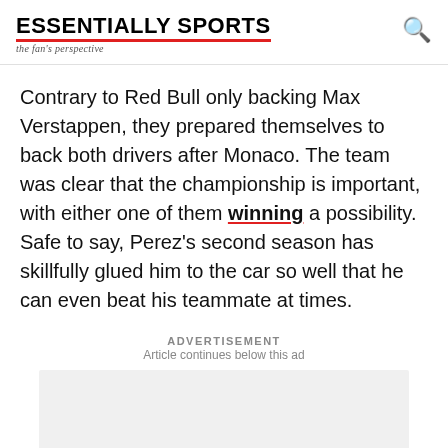ESSENTIALLY SPORTS — the fan's perspective
Contrary to Red Bull only backing Max Verstappen, they prepared themselves to back both drivers after Monaco. The team was clear that the championship is important, with either one of them winning a possibility. Safe to say, Perez's second season has skillfully glued him to the car so well that he can even beat his teammate at times.
ADVERTISEMENT
Article continues below this ad
[Figure (other): Advertisement placeholder — light grey rectangle]